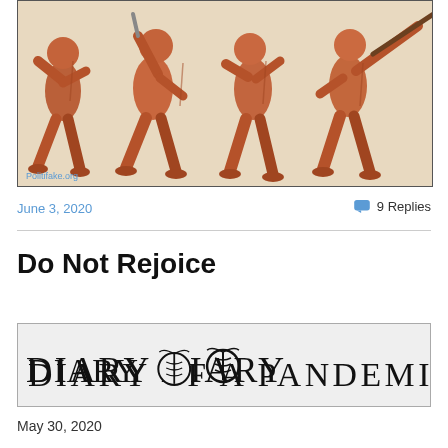[Figure (illustration): Anatomical illustration showing muscular human figures in motion, walking/marching poses, rendered in reddish-brown tones on a beige background. Watermark reads 'Politifake.org' in lower left.]
June 3, 2020
9 Replies
Do Not Rejoice
[Figure (logo): Banner image reading 'DIARY OF A PANDEMIC' in large serif letters with a caduceus medical symbol replacing the letter O in 'OF'. Gray background with border.]
May 30,  2020